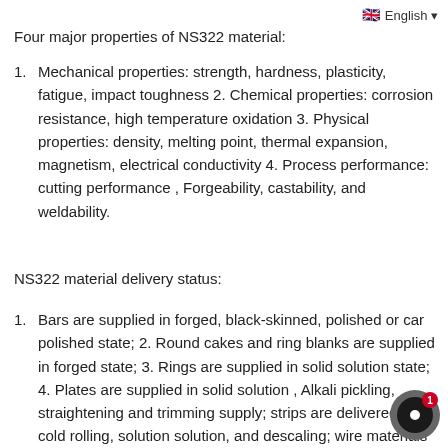🇬🇧 English ▾
Four major properties of NS322 material:
Mechanical properties: strength, hardness, plasticity, fatigue, impact toughness 2. Chemical properties: corrosion resistance, high temperature oxidation 3. Physical properties: density, melting point, thermal expansion, magnetism, electrical conductivity 4. Process performance: cutting performance , Forgeability, castability, and weldability.
NS322 material delivery status:
Bars are supplied in forged, black-skinned, polished or car polished state; 2. Round cakes and ring blanks are supplied in forged state; 3. Rings are supplied in solid solution state; 4. Plates are supplied in solid solution , Alkali pickling, straightening and trimming supply; strips are delivered after cold rolling, solution solution, and descaling; wire materials are delivered in solid solution pickled disc or straight strips, solid solution straight strips and finely